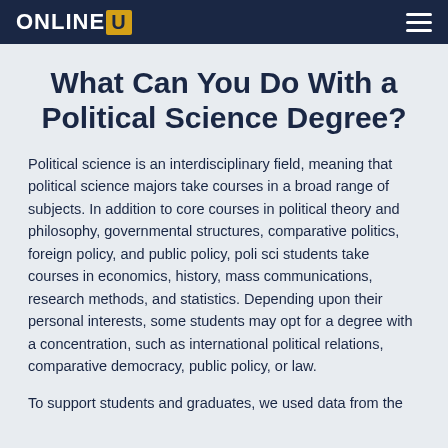ONLINEU
What Can You Do With a Political Science Degree?
Political science is an interdisciplinary field, meaning that political science majors take courses in a broad range of subjects. In addition to core courses in political theory and philosophy, governmental structures, comparative politics, foreign policy, and public policy, poli sci students take courses in economics, history, mass communications, research methods, and statistics. Depending upon their personal interests, some students may opt for a degree with a concentration, such as international political relations, comparative democracy, public policy, or law.
To support students and graduates, we used data from the